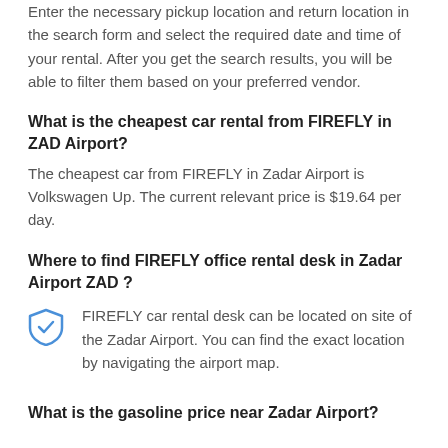Enter the necessary pickup location and return location in the search form and select the required date and time of your rental. After you get the search results, you will be able to filter them based on your preferred vendor.
What is the cheapest car rental from FIREFLY in ZAD Airport?
The cheapest car from FIREFLY in Zadar Airport is Volkswagen Up. The current relevant price is $19.64 per day.
Where to find FIREFLY office rental desk in Zadar Airport ZAD ?
FIREFLY car rental desk can be located on site of the Zadar Airport. You can find the exact location by navigating the airport map.
What is the gasoline price near Zadar Airport?